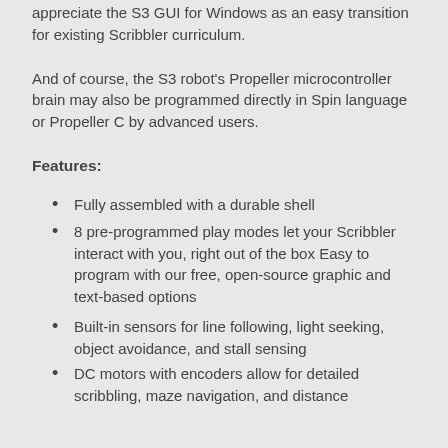appreciate the S3 GUI for Windows as an easy transition for existing Scribbler curriculum.
And of course, the S3 robot's Propeller microcontroller brain may also be programmed directly in Spin language or Propeller C by advanced users.
Features:
Fully assembled with a durable shell
8 pre-programmed play modes let your Scribbler interact with you, right out of the box Easy to program with our free, open-source graphic and text-based options
Built-in sensors for line following, light seeking, object avoidance, and stall sensing
DC motors with encoders allow for detailed scribbling, maze navigation, and distance